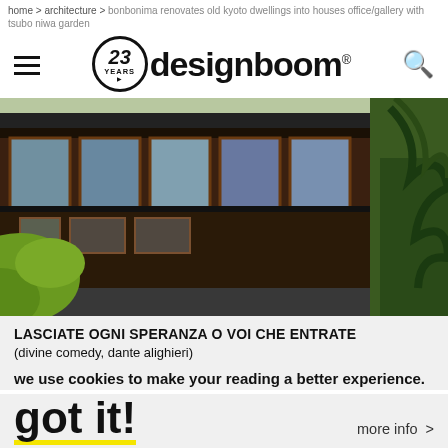home > architecture > bonbonima renovates old kyoto dwellings into houses office/gallery with tsubo niwa garden
[Figure (logo): designboom logo with 23 YEARS badge, hamburger menu icon, and search icon]
[Figure (photo): Exterior photo of a traditional Japanese Kyoto dwelling with wooden facade, large glass windows, sloping tiled roofs, and surrounding pine and green trees]
LASCIATE OGNI SPERANZA O VOI CHE ENTRATE
(divine comedy, dante alighieri)
we use cookies to make your reading a better experience.
got it!
more info >